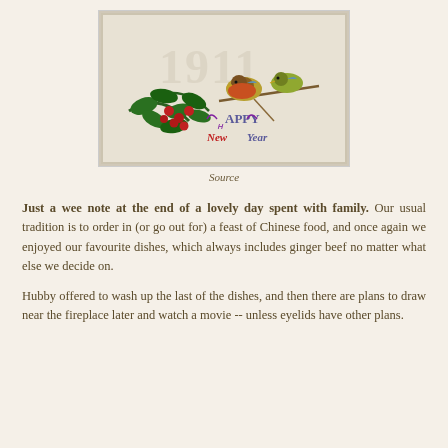[Figure (illustration): Vintage 1911 Happy New Year postcard with two birds perched on a branch, holly with red berries in the foreground, on an embossed cream background with the year 1911 visible.]
Source
Just a wee note at the end of a lovely day spent with family. Our usual tradition is to order in (or go out for) a feast of Chinese food, and once again we enjoyed our favourite dishes, which always includes ginger beef no matter what else we decide on.
Hubby offered to wash up the last of the dishes, and then there are plans to draw near the fireplace later and watch a movie -- unless eyelids have other plans.